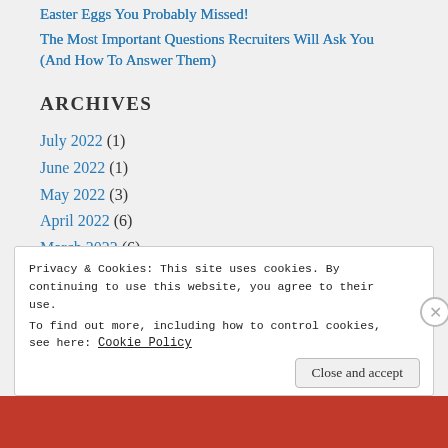Easter Eggs You Probably Missed!
The Most Important Questions Recruiters Will Ask You (And How To Answer Them)
ARCHIVES
July 2022 (1)
June 2022 (1)
May 2022 (3)
April 2022 (6)
March 2022 (6)
February 2022 (4)
January 2022 (5)
Privacy & Cookies: This site uses cookies. By continuing to use this website, you agree to their use.
To find out more, including how to control cookies, see here: Cookie Policy
Close and accept